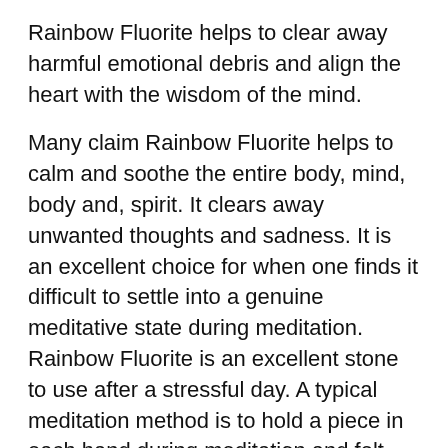Rainbow Fluorite helps to clear away harmful emotional debris and align the heart with the wisdom of the mind.
Many claim Rainbow Fluorite helps to calm and soothe the entire body, mind, body and, spirit. It clears away unwanted thoughts and sadness. It is an excellent choice for when one finds it difficult to settle into a genuine meditative state during meditation. Rainbow Fluorite is an excellent stone to use after a stressful day. A typical meditation method is to hold a piece in each hand during meditation and felt the stresses of the day genuinely wash away.
Rainbow Fluorite is associated with the Heart, Throat and Crown Chakras.
********************************************
The Mojo: Rose Quartz